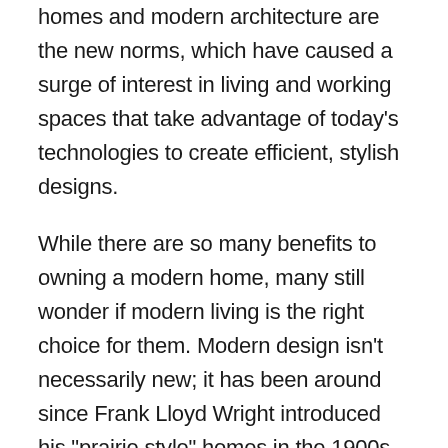homes and modern architecture are the new norms, which have caused a surge of interest in living and working spaces that take advantage of today's technologies to create efficient, stylish designs.
While there are so many benefits to owning a modern home, many still wonder if modern living is the right choice for them. Modern design isn't necessarily new; it has been around since Frank Lloyd Wright introduced his "prairie style" homes in the 1900s, but only recently have more people discovered how much they love living and working in a modern environment.
So, why do people still opt-in for the traditional option? Is it due to price? Comfort? Possibly